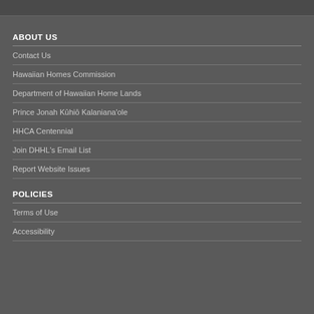ABOUT US
Contact Us
Hawaiian Homes Commission
Department of Hawaiian Home Lands
Prince Jonah Kūhiō Kalanianaʻole
HHCA Centennial
Join DHHL’s Email List
Report Website Issues
POLICIES
Terms of Use
Accessibility